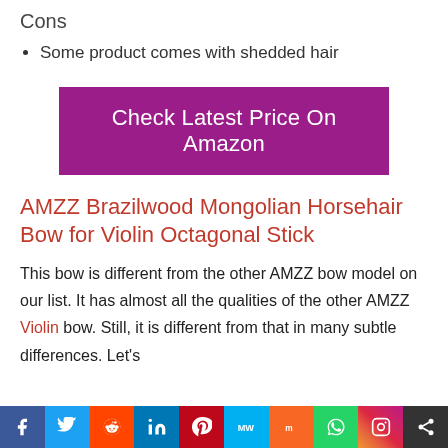Cons
Some product comes with shedded hair
[Figure (other): Purple button: Check Latest Price On Amazon]
AMZZ Brazilwood Mongolian Horsehair Bow for Violin Octagonal Stick
This bow is different from the other AMZZ bow model on our list. It has almost all the qualities of the other AMZZ Violin bow. Still, it is different from that in many subtle differences. Let's
[Figure (other): Social sharing bar with icons: Facebook, Twitter, Reddit, LinkedIn, Pinterest, MeWe, Mix, WhatsApp, Instagram, Share]